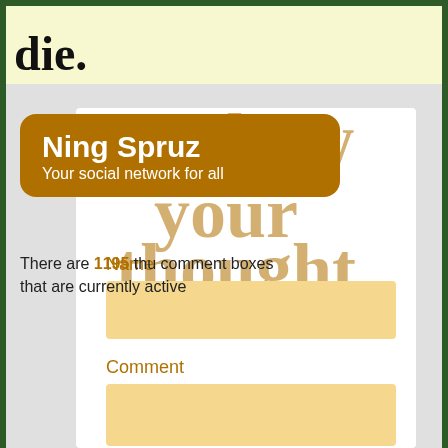die.
[Figure (screenshot): Ning Spruz social network tooltip/badge overlay on a webpage with decorative large text 'how your thought' and a comment form with Name and Comment fields]
Ning Spruz
Your social network for all
There are 1195 thu comment boxes that are currently active
Name
Comment